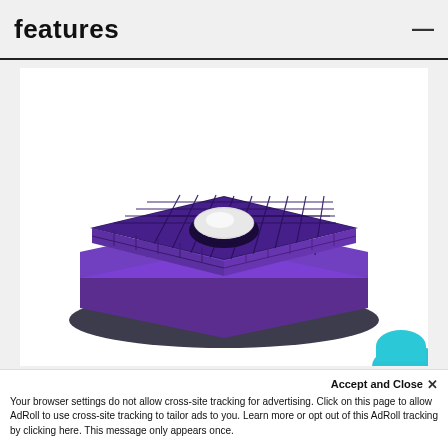features
[Figure (illustration): 3D isometric rendering of a purple/dark grid-patterned square tray or plate (appears to be an engineering or product component) with a white spherical dome/ball in the center, shown in a layered/exploded view with a dark base layer. The grid has a waffle-like pattern. Rendered on a white background.]
Accept and Close ×
Your browser settings do not allow cross-site tracking for advertising. Click on this page to allow AdRoll to use cross-site tracking to tailor ads to you. Learn more or opt out of this AdRoll tracking by clicking here. This message only appears once.